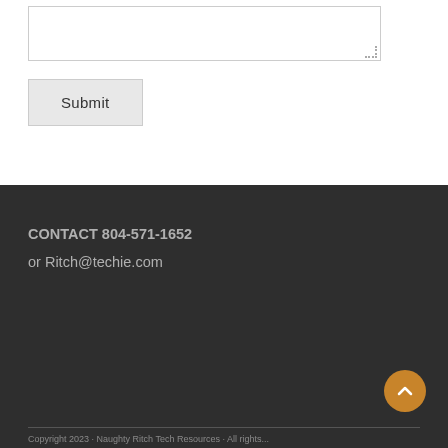[Figure (screenshot): A textarea input field with a resize handle in the bottom-right corner]
Submit
CONTACT 804-571-1652
or Ritch@techie.com
Copyright 2023 · Naughty Ritch Tech Resources · All rights...